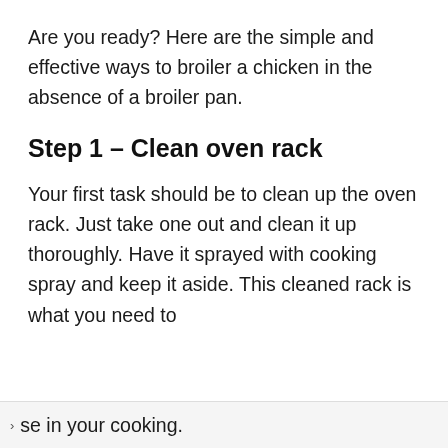Are you ready? Here are the simple and effective ways to broiler a chicken in the absence of a broiler pan.
Step 1 – Clean oven rack
Your first task should be to clean up the oven rack. Just take one out and clean it up thoroughly. Have it sprayed with cooking spray and keep it aside. This cleaned rack is what you need to use in your cooking.